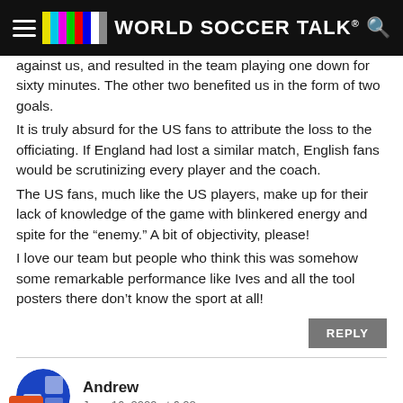World Soccer Talk
against us, and resulted in the team playing one down for sixty minutes. The other two benefited us in the form of two goals.
It is truly absurd for the US fans to attribute the loss to the officiating. If England had lost a similar match, English fans would be scrutinizing every player and the coach.
The US fans, much like the US players, make up for their lack of knowledge of the game with blinkered energy and spite for the “enemy.” A bit of objectivity, please!
I love our team but people who think this was somehow some remarkable performance like Ives and all the tool posters there don’t know the sport at all!
REPLY
Andrew
June 16, 2009 at 6:08 pm